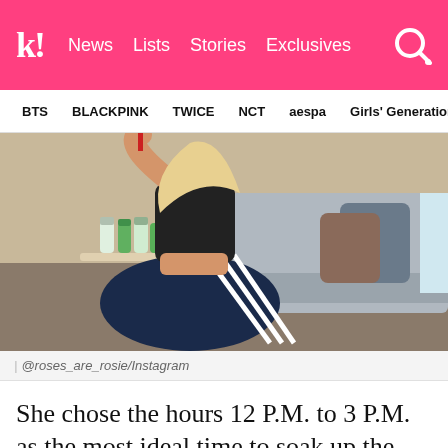koreaboo | News  Lists  Stories  Exclusives
BTS  BLACKPINK  TWICE  NCT  aespa  Girls' Generation
[Figure (photo): Person wearing Adidas trackpants and a black crop top sitting cross-legged on a floor near a sofa with pillows, bottles visible on a table]
| @roses_are_rosie/Instagram
She chose the hours 12 P.M. to 3 P.M. as the most ideal time to soak up the sun's rays and